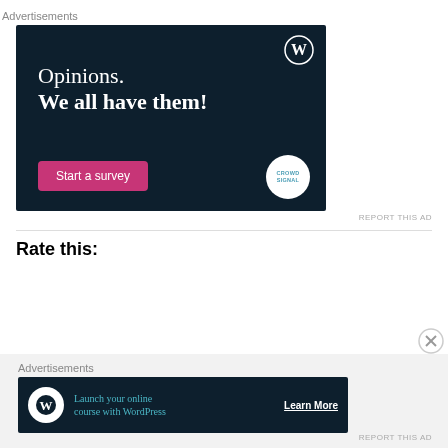Advertisements
[Figure (illustration): WordPress/CrowdSignal advertisement banner on dark navy background. Text reads 'Opinions. We all have them!' with a pink 'Start a survey' button and CrowdSignal logo. WordPress logo in top-right corner.]
REPORT THIS AD
Rate this:
Advertisements
[Figure (illustration): WordPress advertisement banner on dark navy background. Shows WordPress icon in white circle and text 'Launch your online course with WordPress' with 'Learn More' button.]
REPORT THIS AD